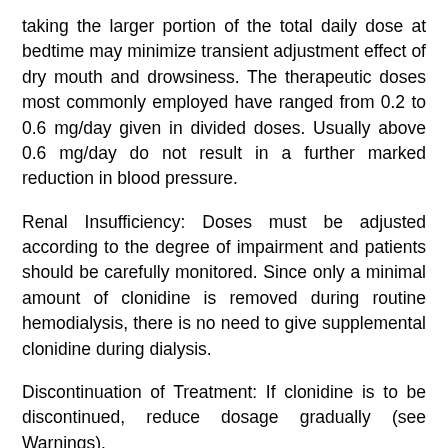taking the larger portion of the total daily dose at bedtime may minimize transient adjustment effect of dry mouth and drowsiness. The therapeutic doses most commonly employed have ranged from 0.2 to 0.6 mg/day given in divided doses. Usually above 0.6 mg/day do not result in a further marked reduction in blood pressure.
Renal Insufficiency: Doses must be adjusted according to the degree of impairment and patients should be carefully monitored. Since only a minimal amount of clonidine is removed during routine hemodialysis, there is no need to give supplemental clonidine during dialysis.
Discontinuation of Treatment: If clonidine is to be discontinued, reduce dosage gradually (see Warnings).
Availability And Storage: 0.1 mg: Each round, white, flat tablet with bevelled edges, the reverse side